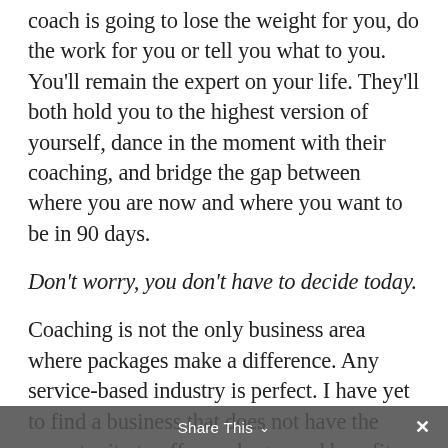coach is going to lose the weight for you, do the work for you or tell you what to you. You'll remain the expert on your life. They'll both hold you to the highest version of yourself, dance in the moment with their coaching, and bridge the gap between where you are now and where you want to be in 90 days.
Don't worry, you don't have to decide today.
Coaching is not the only business area where packages make a difference. Any service-based industry is perfect. I have yet to find a business that does not have the opportunity to offer packages and benefits.
And the upside? You're serving clients who truly want what you're offering, AND you work fewer hours for significantly more income and HUGE impact.
Share This